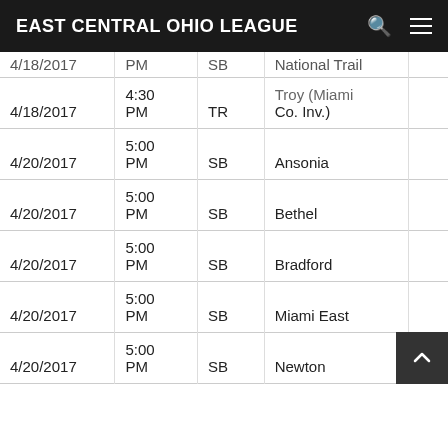EAST CENTRAL OHIO LEAGUE
| Date | Time | Type | Opponent |  |
| --- | --- | --- | --- | --- |
| 4/18/2017 | 4:30 PM | SB | National Trail Troy (Miami Co. Inv.) |  |
| 4/18/2017 | PM | TR | Co. Inv.) |  |
| 4/20/2017 | 5:00 PM | SB | Ansonia |  |
| 4/20/2017 | 5:00 PM | SB | Bethel |  |
| 4/20/2017 | 5:00 PM | SB | Bradford |  |
| 4/20/2017 | 5:00 PM | SB | Miami East |  |
| 4/20/2017 | 5:00 PM | SB | Newton |  |